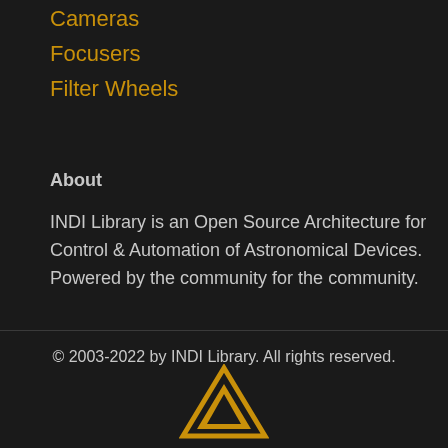Cameras
Focusers
Filter Wheels
About
INDI Library is an Open Source Architecture for Control & Automation of Astronomical Devices. Powered by the community for the community.
© 2003-2022 by INDI Library. All rights reserved.
[Figure (logo): INDI Library logo — golden triangle/arrow chevron shape at bottom center]